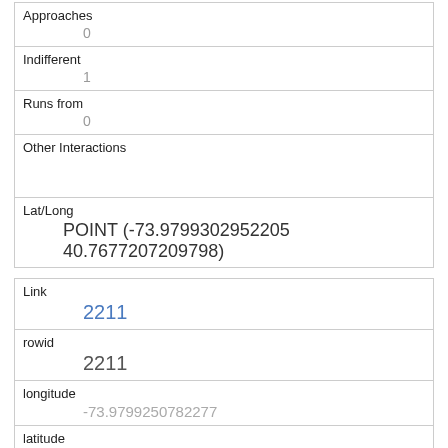| Approaches | 0 |
| Indifferent | 1 |
| Runs from | 0 |
| Other Interactions |  |
| Lat/Long | POINT (-73.9799302952205 40.7677207209798) |
| Link | 2211 |
| rowid | 2211 |
| longitude | -73.9799250782277 |
| latitude | 40.767610659888895 |
| Unique Squirrel ID |  |